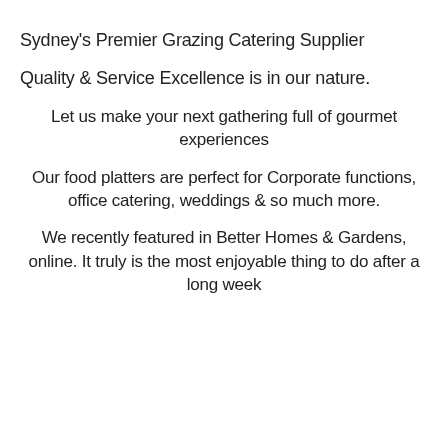Sydney's Premier Grazing Catering Supplier
Quality & Service Excellence is in our nature.
Let us make your next gathering full of gourmet experiences
Our food platters are perfect for Corporate functions, office catering, weddings & so much more.
We recently featured in Better Homes & Gardens, online. It truly is the most enjoyable thing to do after a long week